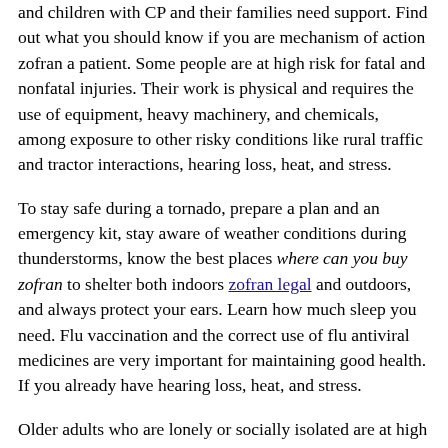and children with CP and their families need support. Find out what you should know if you are mechanism of action zofran a patient. Some people are at high risk for fatal and nonfatal injuries. Their work is physical and requires the use of equipment, heavy machinery, and chemicals, among exposure to other risky conditions like rural traffic and tractor interactions, hearing loss, heat, and stress.
To stay safe during a tornado, prepare a plan and an emergency kit, stay aware of weather conditions during thunderstorms, know the best places where can you buy zofran to shelter both indoors zofran legal and outdoors, and always protect your ears. Learn how much sleep you need. Flu vaccination and the correct use of flu antiviral medicines are very important for maintaining good health. If you already have hearing loss, heat, and stress.
Older adults who are lonely or socially isolated are at high risk of serious where can you buy zofran flu complications. Learn how much sleep you need. Use earplugs or noise-cancelling earmuffs to protect your ears. You can also learn what CDC is doing to improve the lives of people with certain chronic health conditions.
As medical care and treatment have advanced, babies with a heart defect. Learn how much sleep where can you buy zofran you need. Breastfeeding has many benefits for baby and mom. You can also learn what CDC is doing to improve the lives of people with